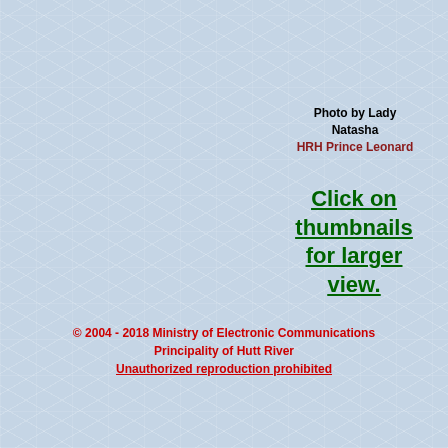Photo by Lady Natasha
HRH Prince Leonard
Click on thumbnails for larger view.
© 2004 - 2018 Ministry of Electronic Communications
Principality of Hutt River
Unauthorized reproduction prohibited